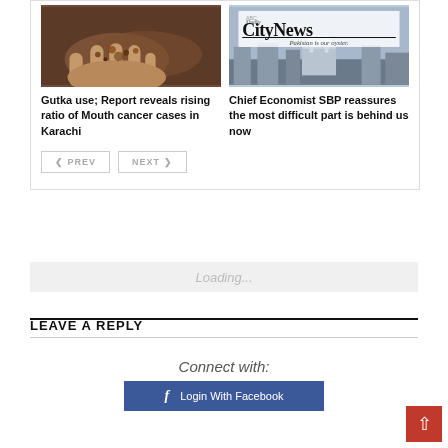[Figure (photo): Hands holding gutka tobacco substance]
[Figure (photo): Daily CityNews logo banner with Pakistan is our oyster tagline and city skyline]
Gutka use; Report reveals rising ratio of Mouth cancer cases in Karachi
Chief Economist SBP reassures the most difficult part is behind us now
PREV
NEXT
Loading...
LEAVE A REPLY
Connect with:
Login With Facebook